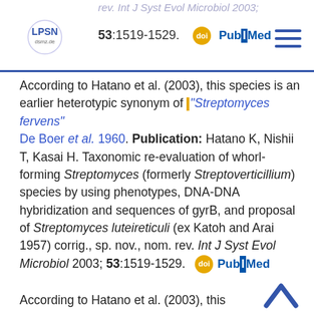rev. Int J Syst Evol Microbiol 2003; 53:1519-1529.
According to Hatano et al. (2003), this species is an earlier heterotypic synonym of |"Streptomyces fervens" De Boer et al. 1960. Publication: Hatano K, Nishii T, Kasai H. Taxonomic re-evaluation of whorl-forming Streptomyces (formerly Streptoverticillium) species by using phenotypes, DNA-DNA hybridization and sequences of gyrB, and proposal of Streptomyces luteireticuli (ex Katoh and Arai 1957) corrig., sp. nov., nom. rev. Int J Syst Evol Microbiol 2003; 53:1519-1529.
According to Hatano et al. (2003), this